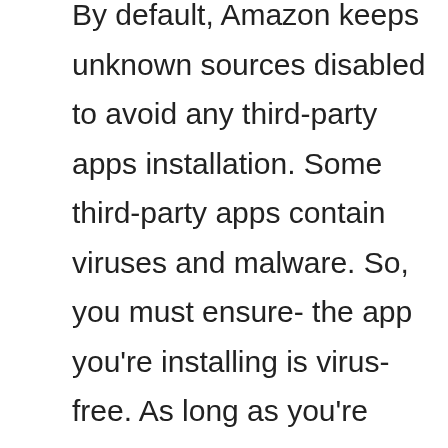By default, Amazon keeps unknown sources disabled to avoid any third-party apps installation. Some third-party apps contain viruses and malware. So, you must ensure- the app you're installing is virus-free. As long as you're installing third-party apps from trusted sources, enabling unknown sources is totally safe. However, I always recommend my readers to use a good VPN to protect your privacy breach.
You can go for any trusted and secured